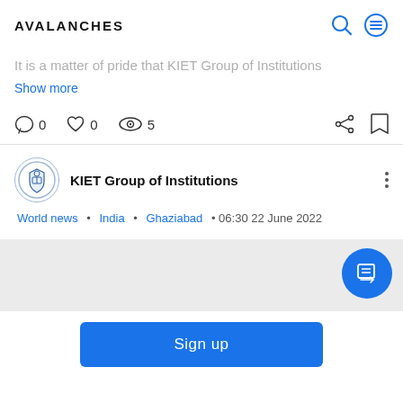AVALANCHES
It is a matter of pride that KIET Group of Institutions
Show more
0  0  5
KIET Group of Institutions
World news • India • Ghaziabad • 06:30 22 June 2022
Sign up